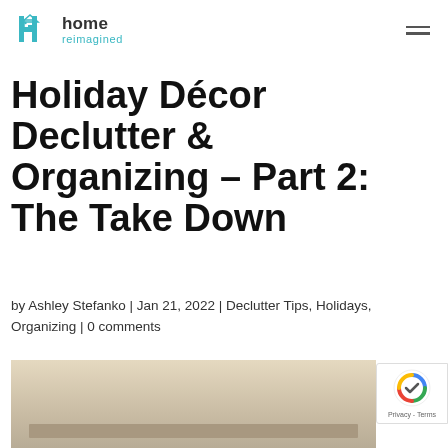home reimagined
Holiday Décor Declutter & Organizing – Part 2: The Take Down
by Ashley Stefanko | Jan 21, 2022 | Declutter Tips, Holidays, Organizing | 0 comments
[Figure (photo): Photo of a storage shelf area with beige/tan background, partially visible at the bottom of the page]
[Figure (logo): reCAPTCHA badge with Google reCAPTCHA logo and Privacy - Terms text]